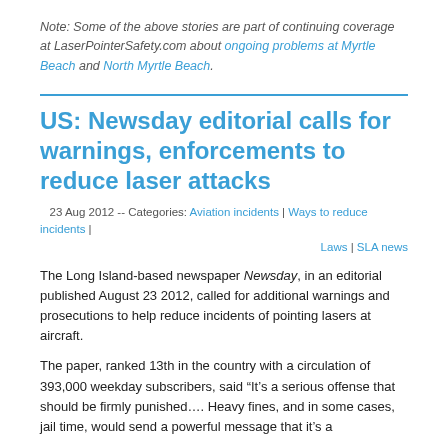Note: Some of the above stories are part of continuing coverage at LaserPointerSafety.com about ongoing problems at Myrtle Beach and North Myrtle Beach.
US: Newsday editorial calls for warnings, enforcements to reduce laser attacks
23 Aug 2012 -- Categories: Aviation incidents | Ways to reduce incidents | Laws | SLA news
The Long Island-based newspaper Newsday, in an editorial published August 23 2012, called for additional warnings and prosecutions to help reduce incidents of pointing lasers at aircraft.
The paper, ranked 13th in the country with a circulation of 393,000 weekday subscribers, said “It’s a serious offense that should be firmly punished…. Heavy fines, and in some cases, jail time, would send a powerful message that it’s a